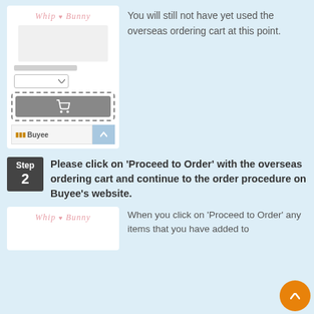[Figure (screenshot): Screenshot of WhipBunny website product page showing logo, product image placeholder, a dropdown, a shopping cart button highlighted with dashed border, and a Buyee bar at the bottom]
You will still not have yet used the overseas ordering cart at this point.
Step 2
Please click on 'Proceed to Order' with the overseas ordering cart and continue to the order procedure on Buyee's website.
[Figure (screenshot): Partial screenshot of WhipBunny website showing logo at top]
When you click on 'Proceed to Order' any items that you have added to